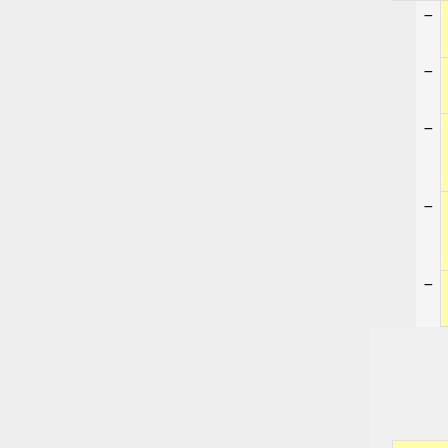| old | change | new |
| --- | --- | --- |
| and KDEM_Fabric. The first one, the base KDEM, is a standard linear-brittle behaviour | −/+ |  |
| constitutive law, the second and third simulate the same behavior of the first but by | −/+ |  |
| following the particularities of Rankine and Mohr-Coulomb criteria respectivelly, while the | −/+ |  |
| last is addressed to study specific materials like membranes or clothes, as well as cables. | −/+ |  |
| Both KDEM and DEMPack laws have the following fields in common: | −/+ |  |